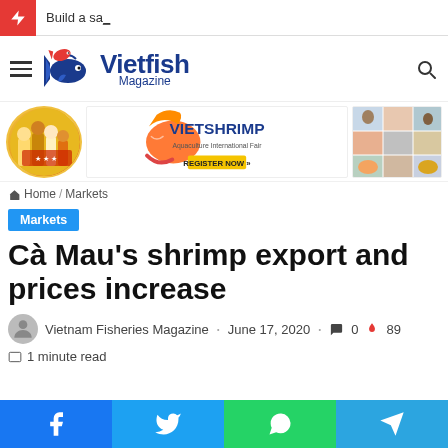Build a sa_
[Figure (logo): Vietfish Magazine logo with fish icon]
[Figure (photo): Banner with circular photo of people, VietShrimp Aquaculture International Fair ad, and seafood collage]
Home / Markets
Markets
Cà Mau's shrimp export and prices increase
Vietnam Fisheries Magazine · June 17, 2020 · 0 comments · 89 hot
1 minute read
[Figure (infographic): Social share bar with Facebook, Twitter, WhatsApp, Telegram buttons]